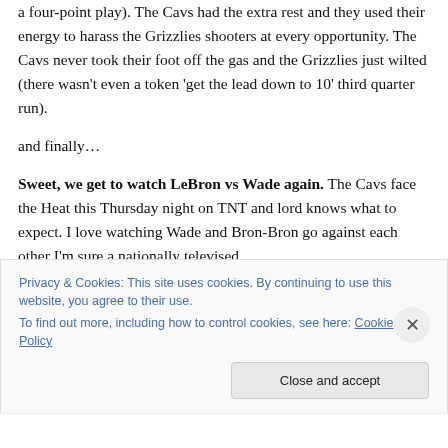a four-point play). The Cavs had the extra rest and they used their energy to harass the Grizzlies shooters at every opportunity. The Cavs never took their foot off the gas and the Grizzlies just wilted (there wasn't even a token 'get the lead down to 10' third quarter run).
and finally…
Sweet, we get to watch LeBron vs Wade again. The Cavs face the Heat this Thursday night on TNT and lord knows what to expect. I love watching Wade and Bron-Bron go against each other I'm sure a nationally televised
Privacy & Cookies: This site uses cookies. By continuing to use this website, you agree to their use. To find out more, including how to control cookies, see here: Cookie Policy
Close and accept